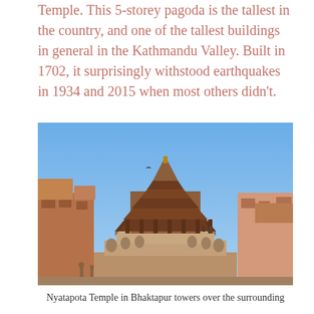Temple. This 5-storey pagoda is the tallest in the country, and one of the tallest buildings in general in the Kathmandu Valley. Built in 1702, it surprisingly withstood earthquakes in 1934 and 2015 when most others didn't.
[Figure (photo): A photograph of the Nyatapota Temple in Bhaktapur, a tall 5-storey pagoda temple with wooden tiered roofs against a blue sky, surrounded by stone statues on a stepped platform and traditional brick buildings on either side.]
Nyatapota Temple in Bhaktapur towers over the surrounding